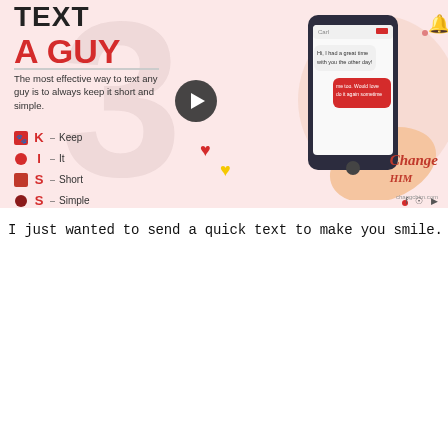[Figure (infographic): How to text a guy infographic with KISS acronym (Keep It Short Simple) and phone illustration with chat bubbles, Change HIM branding]
I just wanted to send a quick text to make you smile.
[Figure (screenshot): 50 Sweet Text Messages That Will Make Any Guy Melt - screenshot of a text conversation with flirty messages]
50 Sweet Text Messages That Will Make Any Guy Melt